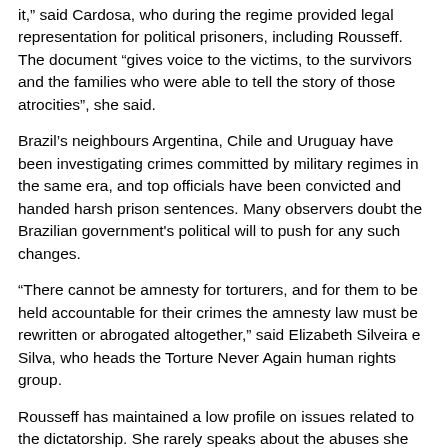it,” said Cardosa, who during the regime provided legal representation for political prisoners, including Rousseff. The document “gives voice to the victims, to the survivors and the families who were able to tell the story of those atrocities”, she said.
Brazil’s neighbours Argentina, Chile and Uruguay have been investigating crimes committed by military regimes in the same era, and top officials have been convicted and handed harsh prison sentences. Many observers doubt the Brazilian government's political will to push for any such changes.
“There cannot be amnesty for torturers, and for them to be held accountable for their crimes the amnesty law must be rewritten or abrogated altogether,” said Elizabeth Silveira e Silva, who heads the Torture Never Again human rights group.
Rousseff has maintained a low profile on issues related to the dictatorship. She rarely speaks about the abuses she suffered in detention, where she was bound and hung upside down, pummelled in the face and given electric shocks.